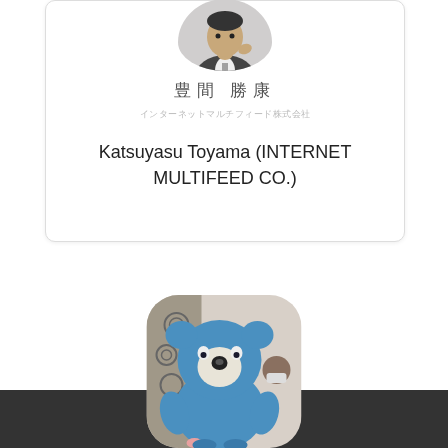[Figure (photo): Profile photo of a person in a suit, cropped as a circle, top half visible at top of card]
豊間 勝康
インターネットマルチフィード株式会社
Katsuyasu Toyama (INTERNET MULTIFEED CO.)
[Figure (photo): A large blue cartoon bear/animal mascot costume with a person in a mask behind it, event setting, rounded rectangle crop]